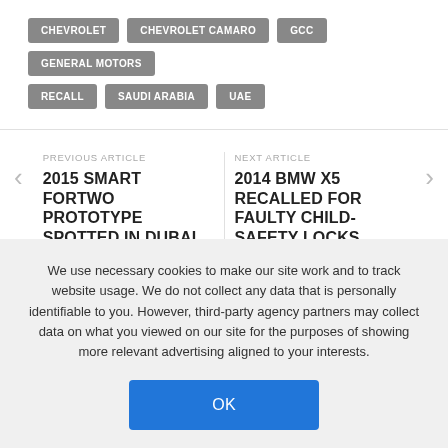CHEVROLET
CHEVROLET CAMARO
GCC
GENERAL MOTORS
RECALL
SAUDI ARABIA
UAE
PREVIOUS ARTICLE
2015 SMART FORTWO PROTOTYPE SPOTTED IN DUBAI
NEXT ARTICLE
2014 BMW X5 RECALLED FOR FAULTY CHILD-SAFETY LOCKS
We use necessary cookies to make our site work and to track website usage. We do not collect any data that is personally identifiable to you. However, third-party agency partners may collect data on what you viewed on our site for the purposes of showing more relevant advertising aligned to your interests.
OK